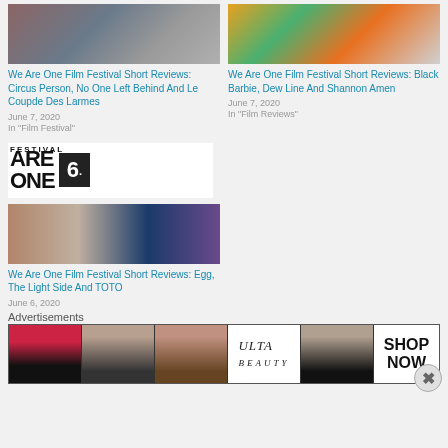[Figure (photo): Three film stills collage showing woman with red hair, man in military beret, and person in winter hat]
We Are One Film Festival Short Reviews: Circus Person, No One Left Behind And Le Coupde Des Larmes
June 7, 2020
In "Film Festival"
[Figure (photo): Colorful illustrated artwork with moon, geometric shapes in orange and teal, and silhouette figure]
We Are One Film Festival Short Reviews: Black Barbie, Dew Line And Shannon Amen
June 7, 2020
In "Film Reviews"
[Figure (logo): We Are One Film Festival logo with bold ARE ONE text and number 6 in black box, with FESTIVAL text above]
[Figure (photo): Three film stills collage showing man's face, American flag mural, and dark silhouette scene]
We Are One Film Festival Short Reviews: Egg, The Light Side And TOTO
June 6, 2020
Advertisements
[Figure (photo): ULTA Beauty advertisement banner showing makeup close-ups, brushes, eyes, ULTA logo, and SHOP NOW text]